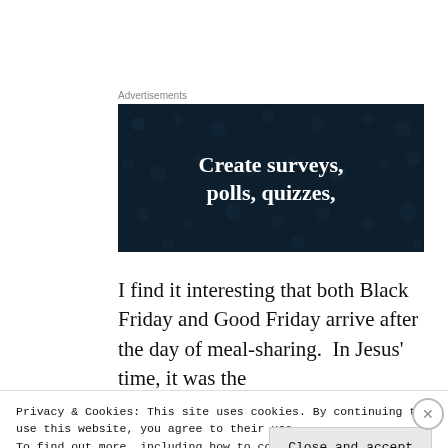Advertisements
[Figure (illustration): Dark navy blue advertisement banner with dot pattern background and bold white serif text reading 'Create surveys, polls, quizzes,']
I find it interesting that both Black Friday and Good Friday arrive after the day of meal-sharing.  In Jesus' time, it was the
Privacy & Cookies: This site uses cookies. By continuing to use this website, you agree to their use.
To find out more, including how to control cookies, see here: Cookie Policy
Close and accept